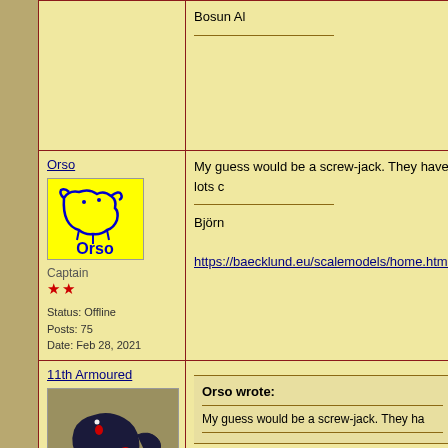Bosun Al
Orso
[Figure (logo): Yellow background logo with blue bear outline and text 'Orso']
Captain
★★
Status: Offline
Posts: 75
Date: Feb 28, 2021
My guess would be a screw-jack. They have lots c
Björn
https://baecklund.eu/scalemodels/home.html
11th Armoured
[Figure (illustration): Olive/tan background with dark bull or boar charging figure with red markings]
Orso wrote:
My guess would be a screw-jack. They ha